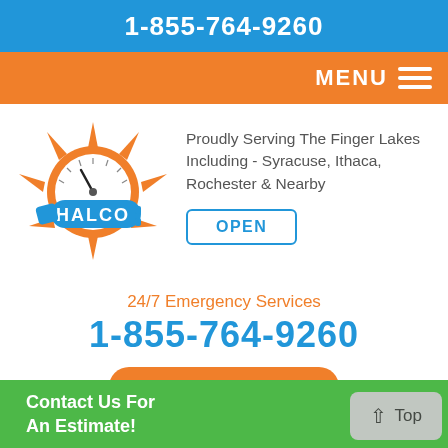1-855-764-9260
MENU ≡
[Figure (logo): HALCO company logo with sun/gear and wrench/plug graphic in blue and orange]
Proudly Serving The Finger Lakes Including - Syracuse, Ithaca, Rochester & Nearby
OPEN
24/7 Emergency Services
1-855-764-9260
or Contact Us Online
Contact Us For An Estimate!
Top